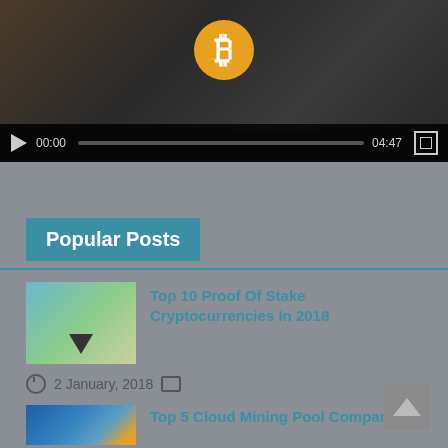[Figure (screenshot): Video player showing people with Bitcoin logo, controls showing 00:00 / 04:47]
Popular Posts
Top 10 Proof Of Stake Cryptocurrencies In 2018
2 January, 2018
Top 5 Cloud Mining Pool Companies
16 September, 2017
Best Masternode Cryptocurrencies For 2018